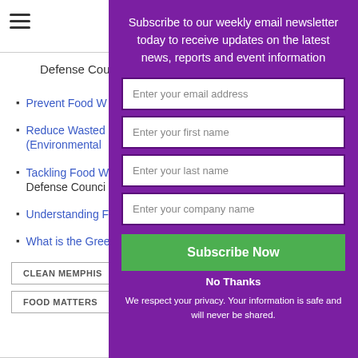[Figure (other): Hamburger menu icon (three horizontal lines)]
Defense Counci
Prevent Food W
Reduce Wasted (Environmental
Tackling Food W Defense Counci
Understanding F
What is the Gree
CLEAN MEMPHIS
FOOD MATTERS
Subscribe to our weekly email newsletter today to receive updates on the latest news, reports and event information
Enter your email address
Enter your first name
Enter your last name
Enter your company name
Subscribe Now
No Thanks
We respect your privacy. Your information is safe and will never be shared.